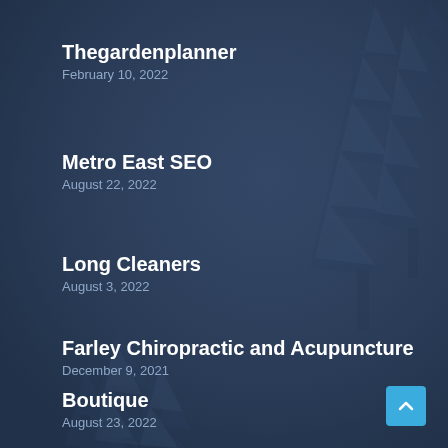Thegardenplanner
February 10, 2022
Metro East SEO
August 22, 2022
Long Cleaners
August 3, 2022
Farley Chiropractic and Acupuncture
December 9, 2021
Boutique
August 23, 2022